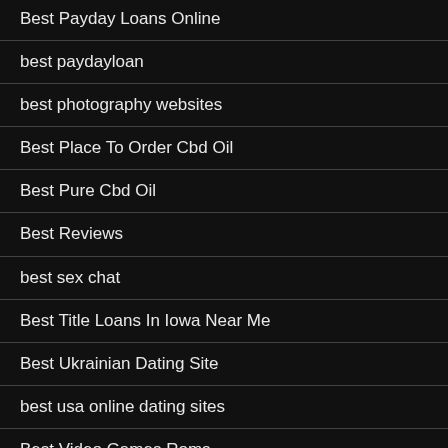Best Payday Loans Online
best paydayloan
best photography websites
Best Place To Order Cbd Oil
Best Pure Cbd Oil
Best Reviews
best sex chat
Best Title Loans In Iowa Near Me
Best Ukrainian Dating Site
best usa online dating sites
Best Video Games Roms
best web dating sites
best website builders